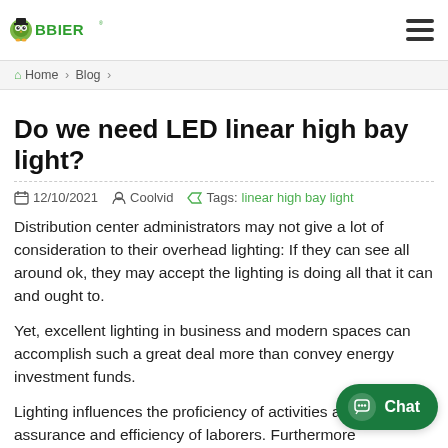OBBIER logo and navigation
Home › Blog ›
Do we need LED linear high bay light?
12/10/2021   Coolvid   Tags: linear high bay light
Distribution center administrators may not give a lot of consideration to their overhead lighting: If they can see all around ok, they may accept the lighting is doing all that it can and ought to.
Yet, excellent lighting in business and modern spaces can accomplish such a great deal more than convey energy investment funds.
Lighting influences the proficiency of activities and the assurance and efficiency of laborers. Furthermore